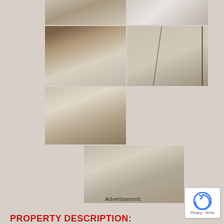[Figure (photo): Interior kitchen/hallway photo - top left]
[Figure (photo): Bathroom with sink and toilet - top right]
[Figure (photo): Kitchen with wooden cabinets - middle left]
[Figure (photo): Staircase with metal railing - middle right]
[Figure (photo): Staircase hallway view - lower left]
[Figure (photo): Living room interior - bottom center]
Advertisement:
PROPERTY DESCRIPTION: